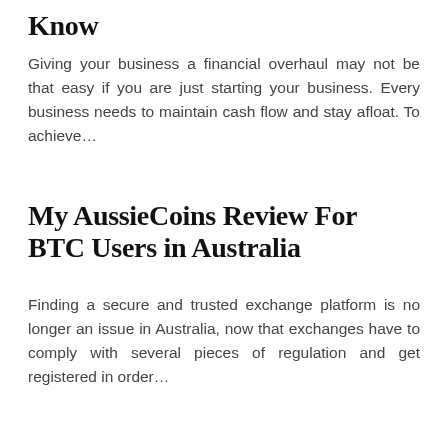Know
Giving your business a financial overhaul may not be that easy if you are just starting your business. Every business needs to maintain cash flow and stay afloat. To achieve…
My AussieCoins Review For BTC Users in Australia
Finding a secure and trusted exchange platform is no longer an issue in Australia, now that exchanges have to comply with several pieces of regulation and get registered in order…
X15 Ventures launches Backr to help first-time businesses